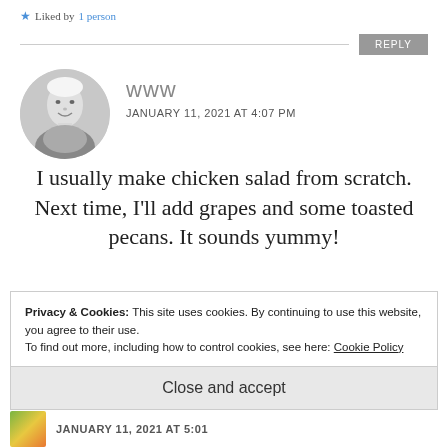Liked by 1 person
REPLY
[Figure (photo): Circular avatar photo of an elderly woman smiling, black and white]
www
JANUARY 11, 2021 AT 4:07 PM
I usually make chicken salad from scratch. Next time, I'll add grapes and some toasted pecans. It sounds yummy!
Privacy & Cookies: This site uses cookies. By continuing to use this website, you agree to their use.
To find out more, including how to control cookies, see here: Cookie Policy
Close and accept
JANUARY 11, 2021 AT 5:01